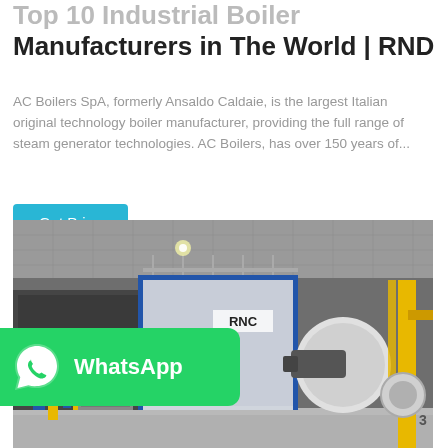Top 10 Industrial Boiler Manufacturers in The World | RND
AC Boilers SpA, formerly Ansaldo Caldaie, is the largest Italian original technology boiler manufacturer, providing the full range of steam generator technologies. AC Boilers, has over 150 years of...
Get Price
[Figure (photo): Industrial boiler room with large white and blue boiler units, yellow piping, and mechanical equipment on a reflective floor inside an industrial facility.]
[Figure (logo): WhatsApp button — green rounded rectangle with WhatsApp logo icon and text 'WhatsApp']